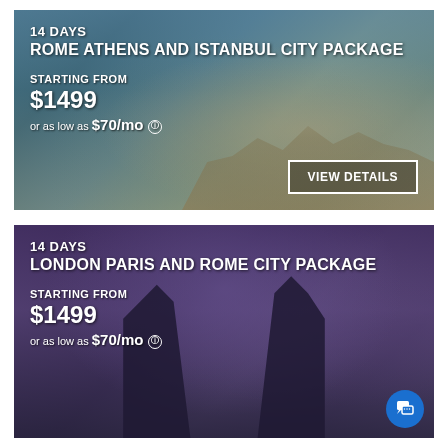[Figure (photo): Travel package card for Rome Athens and Istanbul. Background shows aerial view of Athens with the Acropolis. White text overlay shows 14 DAYS, ROME ATHENS AND ISTANBUL CITY PACKAGE, STARTING FROM $1499, or as low as $70/mo. VIEW DETAILS button in bottom right.]
[Figure (photo): Travel package card for London Paris and Rome. Background shows Tower Bridge at dusk with purple/blue sky. White text overlay shows 14 DAYS, LONDON PARIS AND ROME CITY PACKAGE, STARTING FROM $1499, or as low as $70/mo. Chat button in bottom right corner.]